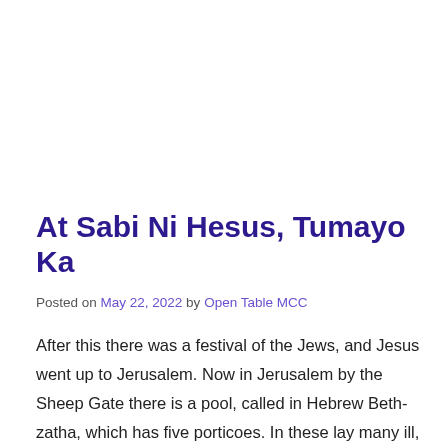At Sabi Ni Hesus, Tumayo Ka
Posted on May 22, 2022 by Open Table MCC
After this there was a festival of the Jews, and Jesus went up to Jerusalem. Now in Jerusalem by the Sheep Gate there is a pool, called in Hebrew Beth-zatha, which has five porticoes. In these lay many ill, blind, lame, and paralyzed people. One man was there who had been ill for thirty-eight